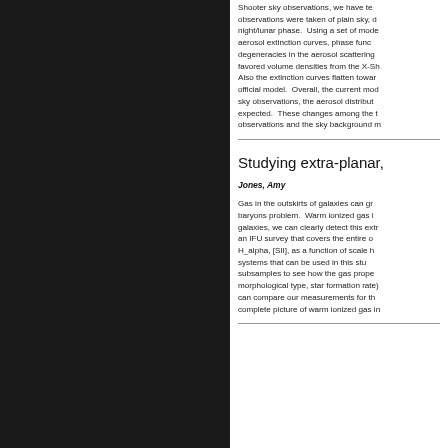Shooter sky observations, we have tested these models observations were taken of plain sky, different nights night/lunar phase. Using a set of model aerosol extinction curves, phase functions to probe degeneracies in the aerosol scattering favored volume densities from the X-Sh Also the extinction curves flatten toward official model. Overall, the current mod sky observations, the aerosol distribut expected. These changes among the t observations and the sky background m
Studying extra-planar,
Jones, Amy
Gas in the outskirts of galaxies can gr baryons problem. Warm ionized gas i galaxies, we can clearly detect this extr an IFU survey that covers the entire o H_alpha, [SII], as a function of scale h systems that can be used in this stu subsamples to see how the gas prope morphological type, star formation rate) can compare our measurements for th complete picture of warm ionized gas in